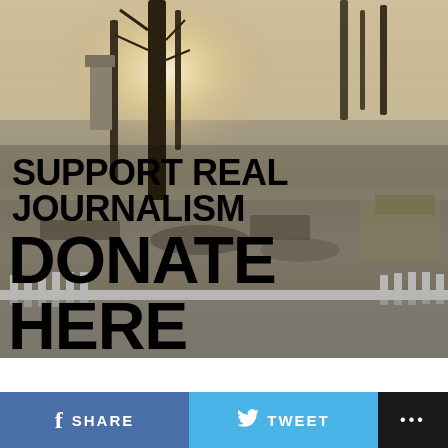[Figure (photo): Fire-devastated landscape showing burned ruins of a home with charred debris, destroyed structures, bare burned trees, and a white picket fence in the foreground. Text overlay reads 'SUPPORT REAL JOURNALISM DONATE HERE' in large black bold letters.]
SHARE
TWEET
...